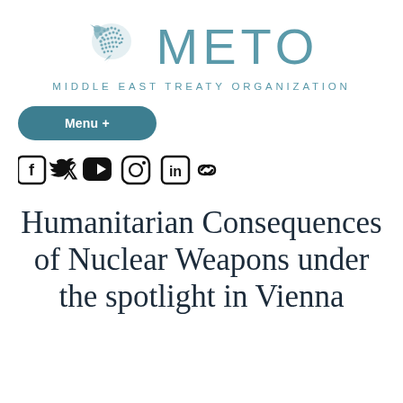[Figure (logo): METO Middle East Treaty Organization logo with a stylized bird/map graphic in teal and the text 'METO' in large letters and 'MIDDLE EAST TREATY ORGANIZATION' beneath]
Menu +
[Figure (infographic): Social media icons: Facebook, Twitter, YouTube, Instagram, LinkedIn, and a link icon]
Humanitarian Consequences of Nuclear Weapons under the spotlight in Vienna